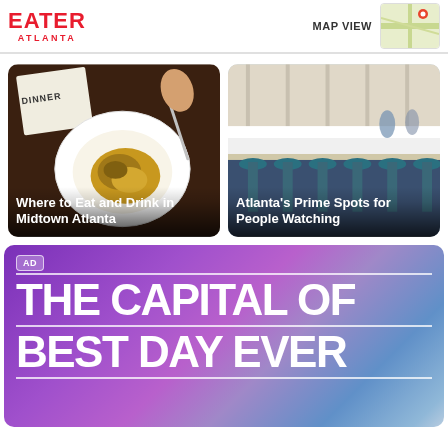EATER ATLANTA
MAP VIEW
[Figure (photo): Food photo: hand holding fork over a white bowl with a cooked dish, beside a dinner menu card]
Where to Eat and Drink in Midtown Atlanta
[Figure (photo): Restaurant interior photo: bright airy space with bar seating and teal bar stools]
Atlanta's Prime Spots for People Watching
[Figure (infographic): Advertisement banner with purple-to-blue gradient background. Text reads: THE CAPITAL OF BEST DAY EVER]
AD
THE CAPITAL OF BEST DAY EVER